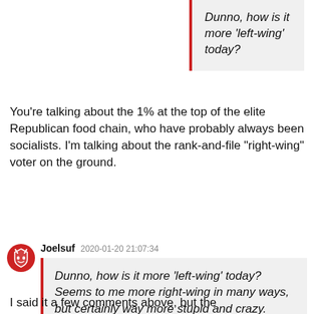Dunno, how is it more ‘left-wing’ today?
You're talking about the 1% at the top of the elite Republican food chain, who have probably always been socialists. I'm talking about the rank-and-file "right-wing" voter on the ground.
Joelsuf  2020-01-20 21:07:34
Dunno, how is it more ‘left-wing’ today? Seems to me more right-wing in many ways, but certainly way more stupid and crazy.
I said it a few comments above, but the